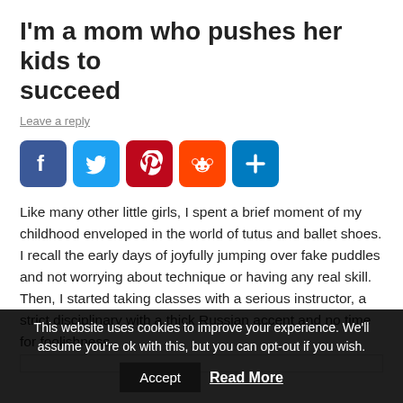I'm a mom who pushes her kids to succeed
Leave a reply
[Figure (infographic): Row of five social sharing buttons: Facebook (blue), Twitter (light blue), Pinterest (dark red), Reddit (orange-red), Share/Add (blue) — each a rounded square icon]
Like many other little girls, I spent a brief moment of my childhood enveloped in the world of tutus and ballet shoes. I recall the early days of joyfully jumping over fake puddles and not worrying about technique or having any real skill. Then, I started taking classes with a serious instructor, a strict disciplinary with a thick Russian accent and no time for foolishness.
This website uses cookies to improve your experience. We'll assume you're ok with this, but you can opt-out if you wish.